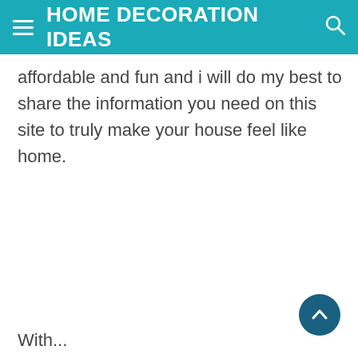HOME DECORATION IDEAS
affordable and fun and i will do my best to share the information you need on this site to truly make your house feel like home.
With...